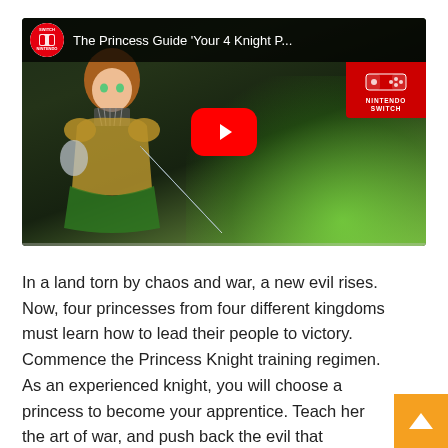[Figure (screenshot): YouTube video thumbnail for 'The Princess Guide Your 4 Knight P...' showing an anime-style female warrior character in green and gold armor wielding a sword, with a YouTube play button overlay in the center, Nintendo Switch logo in top-right corner, and a dark game-screenshot background with green glow effects.]
In a land torn by chaos and war, a new evil rises. Now, four princesses from four different kingdoms must learn how to lead their people to victory. Commence the Princess Knight training regimen. As an experienced knight, you will choose a princess to become your apprentice. Teach her the art of war, and push back the evil that threatens to take over the land. With your choices directly impacting the way your Princess Knight fights, The Pr